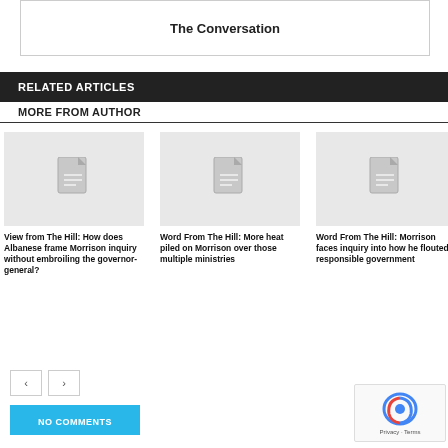The Conversation
RELATED ARTICLES
MORE FROM AUTHOR
[Figure (illustration): Placeholder image with document icon for article 1]
View from The Hill: How does Albanese frame Morrison inquiry without embroiling the governor-general?
[Figure (illustration): Placeholder image with document icon for article 2]
Word From The Hill: More heat piled on Morrison over those multiple ministries
[Figure (illustration): Placeholder image with document icon for article 3]
Word From The Hill: Morrison faces inquiry into how he flouted responsible government
NO COMMENTS